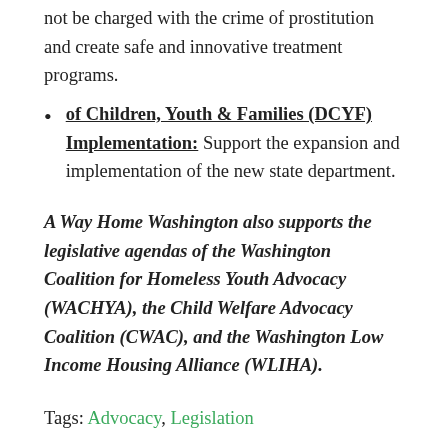not be charged with the crime of prostitution and create safe and innovative treatment programs.
of Children, Youth & Families (DCYF) Implementation: Support the expansion and implementation of the new state department.
A Way Home Washington also supports the legislative agendas of the Washington Coalition for Homeless Youth Advocacy (WACHYA), the Child Welfare Advocacy Coalition (CWAC), and the Washington Low Income Housing Alliance (WLIHA).
Tags: Advocacy, Legislation